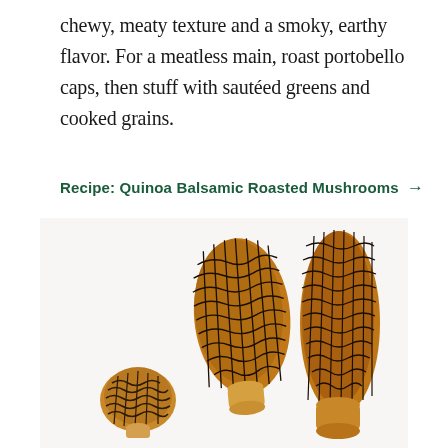chewy, meaty texture and a smoky, earthy flavor. For a meatless main, roast portobello caps, then stuff with sautéed greens and cooked grains.
Recipe: Quinoa Balsamic Roasted Mushrooms →
[Figure (photo): Three dried morel mushrooms with distinctive honeycomb-patterned caps in shades of dark brown and tan, arranged on a white background. Two larger morels stand upright in the center and right, one smaller morel at lower left.]